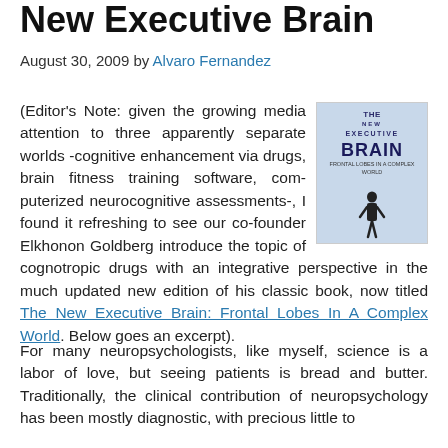New Executive Brain
August 30, 2009 by Alvaro Fernandez
(Editor's Note: given the growing media attention to three apparently separate worlds -cognitive enhancement via drugs, brain fitness training software, computerized neurocognitive assessments-, I found it refreshing to see our co-founder Elkhonon Goldberg introduce the topic of cognotropic drugs with an integrative perspective in the much updated new edition of his classic book, now titled The New Executive Brain: Frontal Lobes In A Complex World. Below goes an excerpt).
[Figure (photo): Book cover of 'The New Executive Brain' showing title text and silhouette of a person standing]
For many neuropsychologists, like myself, science is a labor of love, but seeing patients is bread and butter. Traditionally, the clinical contribution of neuropsychology has been mostly diagnostic, with precious little to